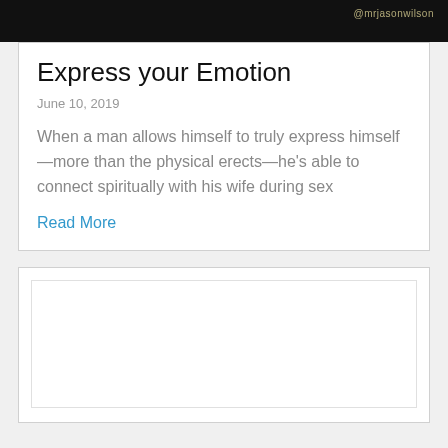[Figure (photo): Dark background image with text '@mrjasonwilson' visible in the top right corner]
Express your Emotion
June 10, 2019
When a man allows himself to truly express himself—more than the physical erects—he's able to connect spiritually with his wife during sex
Read More
[Figure (other): Empty white card with inner border, second article card placeholder]